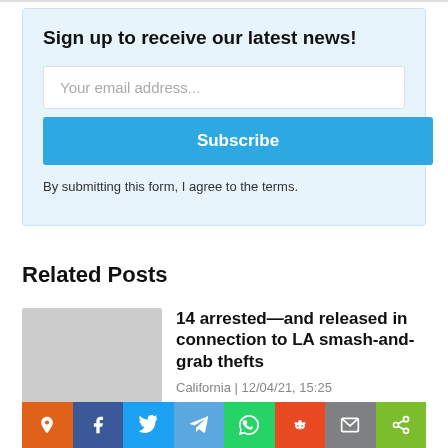Sign up to receive our latest news!
Your email address...
Subscribe
By submitting this form, I agree to the terms.
Related Posts
14 arrested—and released in connection to LA smash-and-grab thefts
California | 12/04/21, 15:25